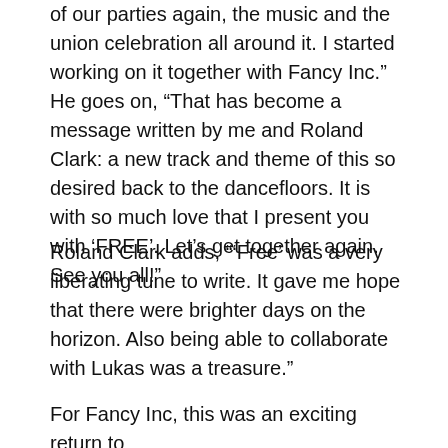of our parties again, the music and the union celebration all around it. I started working on it together with Fancy Inc.” He goes on, “That has become a message written by me and Roland Clark: a new track and theme of this so desired back to the dancefloors. It is with so much love that I present you with ‘FREE’. Let’s get together again. See you all!”
Roland Clark adds, “‘Free’ was a very liberating tune to write. It gave me hope that there were brighter days on the horizon. Also being able to collaborate with Lukas was a treasure.”
For Fancy Inc, this was an exciting return to